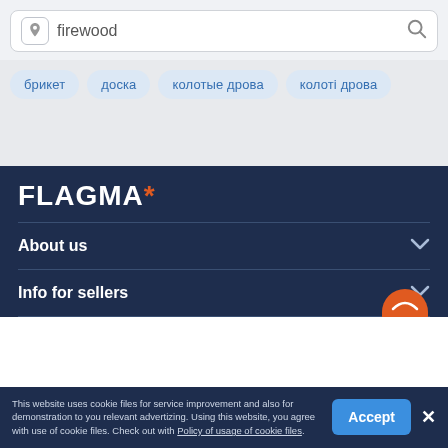[Figure (screenshot): Search bar with location icon, text 'firewood', and search magnifier icon]
брикет
доска
колотые дрова
колоті дрова
[Figure (logo): FLAGMA logo with asterisk in orange on dark navy background]
About us
Info for sellers
This website uses cookie files for service improvement and also for demonstration to you relevant advertizing. Using this website, you agree with use of cookie files. Check out with Policy of usage of cookie files.